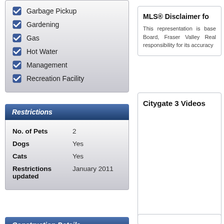Garbage Pickup
Gardening
Gas
Hot Water
Management
Recreation Facility
Restrictions
| No. of Pets | 2 |
| Dogs | Yes |
| Cats | Yes |
| Restrictions updated | January 2011 |
Construction Details
| Year Built | 1994 |
| Levels | 27 |
MLS® Disclaimer fo
This representation is base Board, Fraser Valley Real responsibility for its accuracy
Citygate 3 Videos
Northeast False Creek Concord Pacific Waterfront Entertainment District Animation